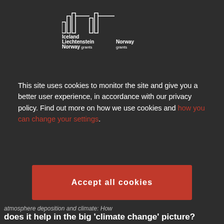[Figure (logo): Iceland Liechtenstein Norway grants and Norway grants logos in white on dark background]
This site uses cookies to monitor the site and give you a better user experience, in accordance with our privacy policy. Find out more on how we use cookies and how you can change your settings.
Accept all cookies
No thanks, only technically necessary cookies
atmosphere deposition and climate: How does it help in the big 'climate change' picture?